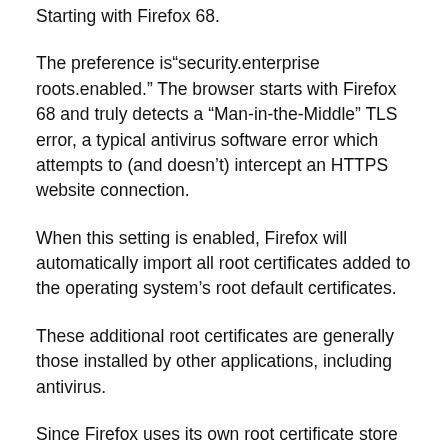Starting with Firefox 68.
The preference is“security.enterprise roots.enabled.” The browser starts with Firefox 68 and truly detects a “Man-in-the-Middle” TLS error, a typical antivirus software error which attempts to (and doesn’t) intercept an HTTPS website connection.
When this setting is enabled, Firefox will automatically import all root certificates added to the operating system’s root default certificates.
These additional root certificates are generally those installed by other applications, including antivirus.
Since Firefox uses its own root certificate store with its “authorized certificated” list which is distinct from the operating system-managed list, antivirus software